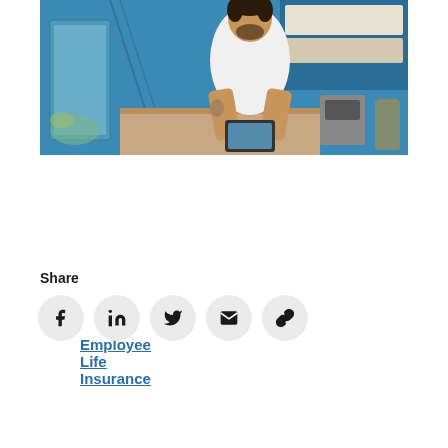[Figure (photo): A smiling man with a beard and tattoo on his arm, wearing a white t-shirt, leaning on a counter in a cafe with blue walls and shelves in the background.]
Employee Life Insurance
Share
[Figure (infographic): Row of five social share icon buttons: Facebook, LinkedIn, Twitter, Email, and Link/Copy, each in a light grey circle.]